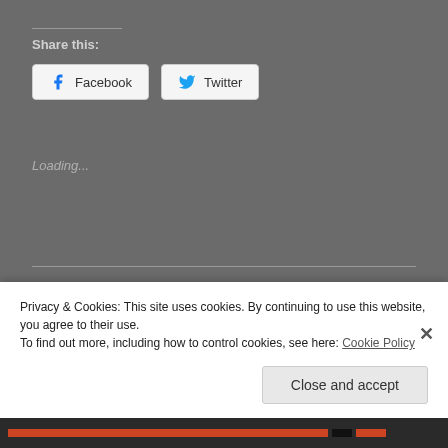Share this:
[Figure (screenshot): Facebook and Twitter share buttons]
Loading...
Dime Store Detective – Part Four
MAY 25, 2015 / BEN VAN DONGEN / LEAVE A COMMENT
Privacy & Cookies: This site uses cookies. By continuing to use this website, you agree to their use.
To find out more, including how to control cookies, see here: Cookie Policy
Close and accept